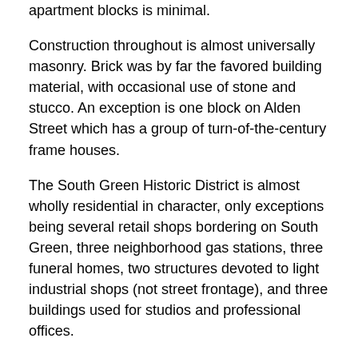apartment blocks is minimal.
Construction throughout is almost universally masonry. Brick was by far the favored building material, with occasional use of stone and stucco. An exception is one block on Alden Street which has a group of turn-of-the-century frame houses.
The South Green Historic District is almost wholly residential in character, only exceptions being several retail shops bordering on South Green, three neighborhood gas stations, three funeral homes, two structures devoted to light industrial shops (not street frontage), and three buildings used for studios and professional offices.
There is strong ecclesiastical presence in the area through significant church owned properties. These are St. Peter's Catholic Church and associated rectory, school, and convent; South Park Methodist